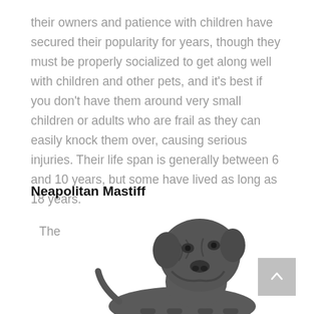their owners and patience with children have secured their popularity for years, though they must be properly socialized to get along well with children and other pets, and it's best if you don't have them around very small children or adults who are frail as they can easily knock them over, causing serious injuries. Their life span is generally between 6 and 10 years, but some have lived as long as 18 years.
Neapolitan Mastiff
The
[Figure (photo): A large Neapolitan Mastiff dog photographed against a white background, showing its characteristic wrinkled grey/dark coat and large head with drooping jowls.]